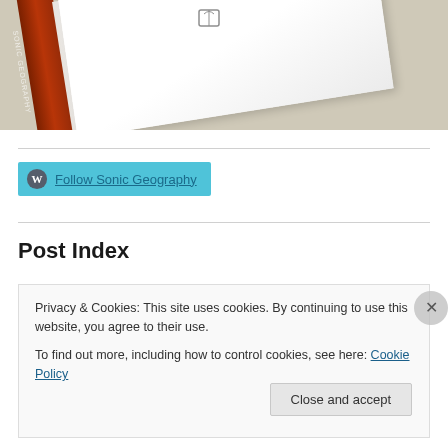[Figure (photo): A book or box photographed at an angle on a beige/tan surface. It has a dark red/brown spine and a white cover with a small logo/icon on top.]
Follow Sonic Geography
Post Index
Privacy & Cookies: This site uses cookies. By continuing to use this website, you agree to their use.
To find out more, including how to control cookies, see here: Cookie Policy
Close and accept